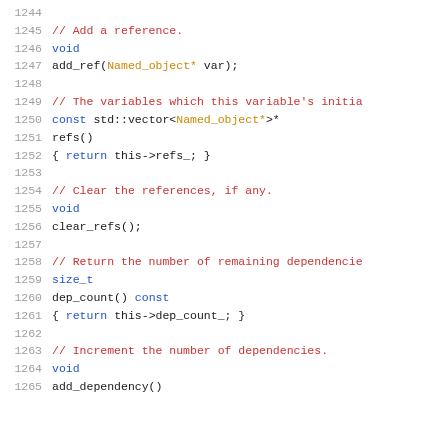[Figure (screenshot): Source code listing showing C++ class method declarations, lines 1244-1265, with syntax highlighting. Methods include add_ref, refs, clear_refs, dep_count, and add_dependency.]